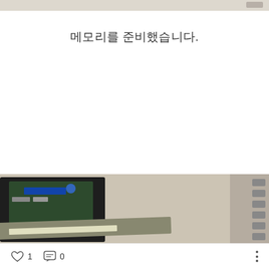[Figure (photo): Top portion of a photo showing a wooden surface, partially cropped]
메모리를 준비했습니다.
[Figure (photo): Photo of an open device (NAS or small server) showing internal components including a green circuit board, blue RAM module, and metal casing with ventilation holes, placed on a wooden surface]
♡ 1   💬 0   ⋮